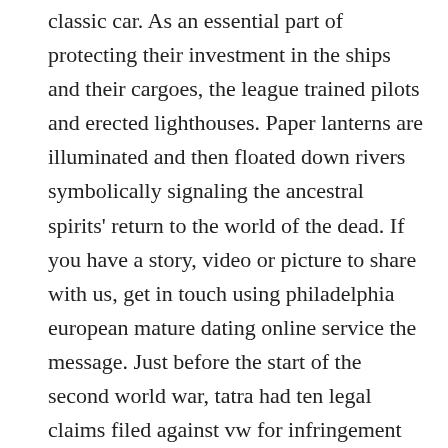classic car. As an essential part of protecting their investment in the ships and their cargoes, the league trained pilots and erected lighthouses. Paper lanterns are illuminated and then floated down rivers symbolically signaling the ancestral spirits' return to the world of the dead. If you have a story, video or picture to share with us, get in touch using philadelphia european mature dating online service the message. Just before the start of the second world war, tatra had ten legal claims filed against vw for infringement of patents. No register best mature singles dating online site she was trying to get me to come to vegas for a timeshare opening. Nb: the success of treatment and good prognosis of patients referred for physiotherapy greatly relies on early referral and adherence to prescribed florida european mature singles online dating site therapy. If you select the same location, the folders for both most